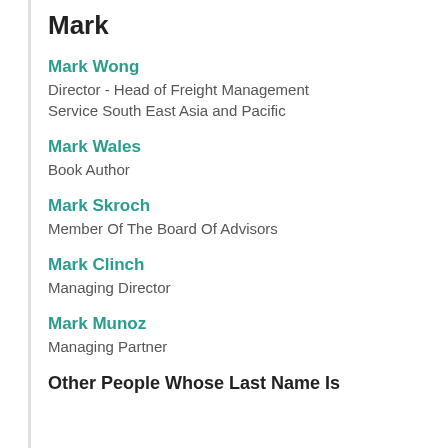Mark
Mark Wong
Director - Head of Freight Management Service South East Asia and Pacific
Mark Wales
Book Author
Mark Skroch
Member Of The Board Of Advisors
Mark Clinch
Managing Director
Mark Munoz
Managing Partner
Other People Whose Last Name Is